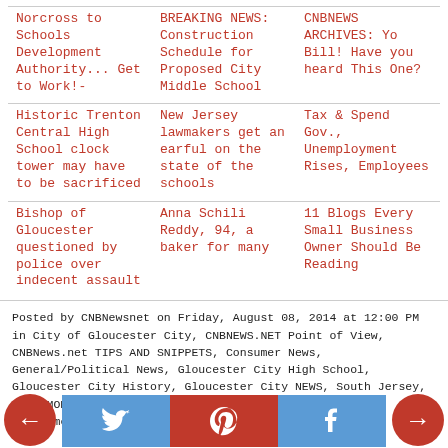Norcross to Schools Development Authority... Get to Work!-
BREAKING NEWS: Construction Schedule for Proposed City Middle School
CNBNEWS ARCHIVES: Yo Bill! Have you heard This One?
Historic Trenton Central High School clock tower may have to be sacrificed
New Jersey lawmakers get an earful on the state of the schools
Tax & Spend Gov., Unemployment Rises, Employees
Bishop of Gloucester questioned by police over indecent assault
Anna Schili Reddy, 94, a baker for many
11 Blogs Every Small Business Owner Should Be Reading
Posted by CNBNewsnet on Friday, August 08, 2014 at 12:00 PM in City of Gloucester City, CNBNEWS.NET Point of View, CNBNews.net TIPS AND SNIPPETS, Consumer News, General/Political News, Gloucester City High School, Gloucester City History, Gloucester City NEWS, South Jersey, YOUR MONEY | Permalink | Comments (0)